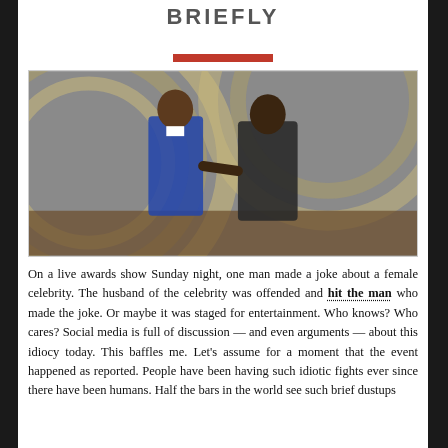BRIEFLY
[Figure (photo): Two men in formal suits on a stage. One man in a blue velvet tuxedo appears to be reacting as another man in a black suit stands facing away. Award show circular decorative backdrop visible in background.]
On a live awards show Sunday night, one man made a joke about a female celebrity. The husband of the celebrity was offended and hit the man who made the joke. Or maybe it was staged for entertainment. Who knows? Who cares? Social media is full of discussion — and even arguments — about this idiocy today. This baffles me. Let's assume for a moment that the event happened as reported. People have been having such idiotic fights ever since there have been humans. Half the bars in the world see such brief dustups